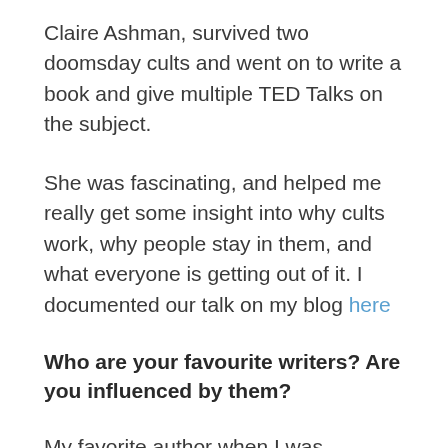Claire Ashman, survived two doomsday cults and went on to write a book and give multiple TED Talks on the subject.
She was fascinating, and helped me really get some insight into why cults work, why people stay in them, and what everyone is getting out of it. I documented our talk on my blog here
Who are your favourite writers? Are you influenced by them?
My favorite author when I was younger was David Gemell. He wrote ‘heroic fantasy’ about lone heroes facing impossible odds, who often met their enemies with overwhelming, slightly amoral force. My favorite character of all was a